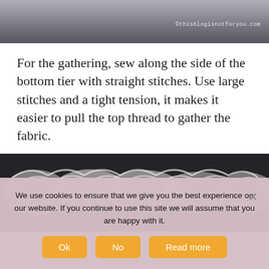[Figure (photo): Top portion of a fabric/tulle image with watermark text '©thisblogisnotforyou.com' in the top right corner]
For the gathering, sew along the side of the bottom tier with straight stitches. Use large stitches and a tight tension, it makes it easier to pull the top thread to gather the fabric.
[Figure (photo): Close-up photo of gathered white/silver tulle fabric against a dark background]
We use cookies to ensure that we give you the best experience on our website. If you continue to use this site we will assume that you are happy with it.